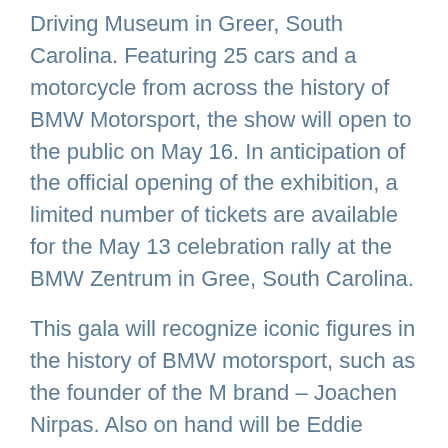Driving Museum in Greer, South Carolina. Featuring 25 cars and a motorcycle from across the history of BMW Motorsport, the show will open to the public on May 16. In anticipation of the official opening of the exhibition, a limited number of tickets are available for the May 13 celebration rally at the BMW Zentrum in Gree, South Carolina.
This gala will recognize iconic figures in the history of BMW motorsport, such as the founder of the M brand – Joachen Nirpas. Also on hand will be Eddie Chiver, a member of the original BMW junior team created by Nirpash in 1977 and the winner of the 1998 Indy 500. You can buy tickets for the May 13 rally and details of other events at BMWCCAF50. Tickets to the Ultimate Driving Museum just a few miles from the BMW Zentrum to see the May 14